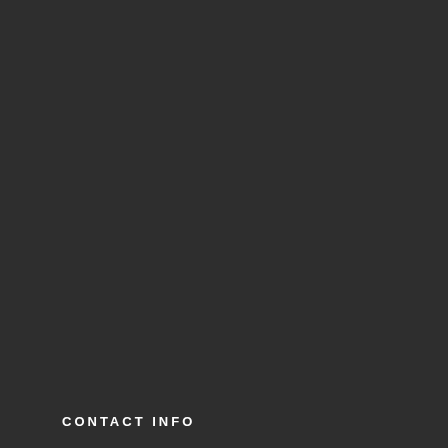[Figure (other): Twitter follow button with bird icon and text 'Follow @cuttingedgedjs' on a dark background]
CONTACT INFO